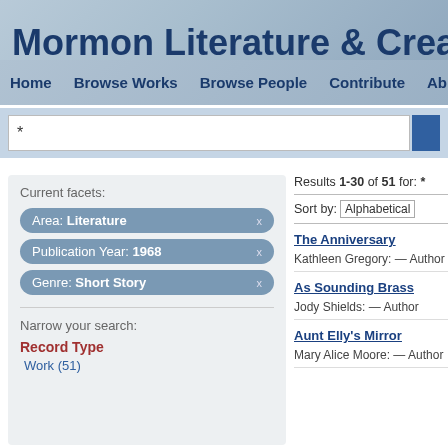Mormon Literature & Creativ
Home | Browse Works | Browse People | Contribute | Ab
*
Current facets:
Area: Literature
Publication Year: 1968
Genre: Short Story
Narrow your search:
Record Type
Work (51)
Results 1-30 of 51 for: *
Sort by: Alphabetical
The Anniversary
Kathleen Gregory: — Author
As Sounding Brass
Jody Shields: — Author
Aunt Elly's Mirror
Mary Alice Moore: — Author